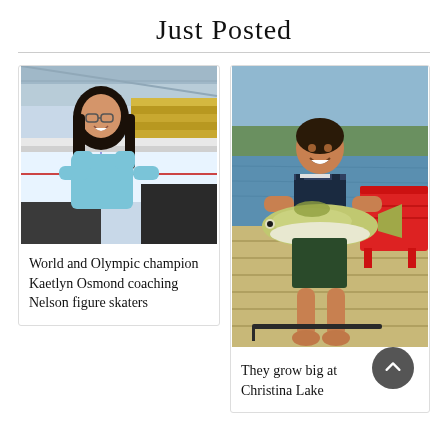Just Posted
[Figure (photo): Young woman with dark hair, wearing a light blue top, smiling in front of an ice rink with yellow stadium seating in background]
World and Olympic champion Kaetlyn Osmond coaching Nelson figure skaters
[Figure (photo): Young boy standing on a wooden dock holding a large rainbow trout fish, with a red Adirondack chair and a lake in the background]
They grow big at Christina Lake